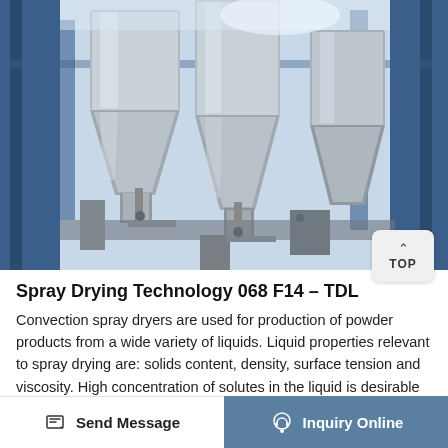[Figure (photo): Industrial spray drying equipment — multiple large stainless steel conical cyclone separators and cylindrical drying chambers against a blue steel structure background, photographed from below looking upward.]
Spray Drying Technology 068 F14 – TDL
Convection spray dryers are used for production of powder products from a wide variety of liquids. Liquid properties relevant to spray drying are: solids content, density, surface tension and viscosity. High concentration of solutes in the liquid is desirable to increase dryer thermal